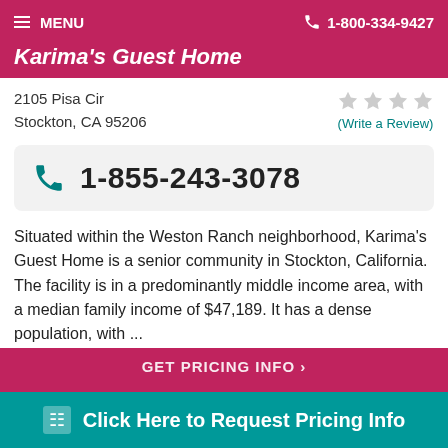MENU  1-800-334-9427
Karima's Guest Home
2105 Pisa Cir
Stockton, CA 95206
(Write a Review)
1-855-243-3078
Situated within the Weston Ranch neighborhood, Karima's Guest Home is a senior community in Stockton, California. The facility is in a predominantly middle income area, with a median family income of $47,189. It has a dense population, with ...
3 miles away from French Camp, CA
GET PRICING INFO
Click Here to Request Pricing Info